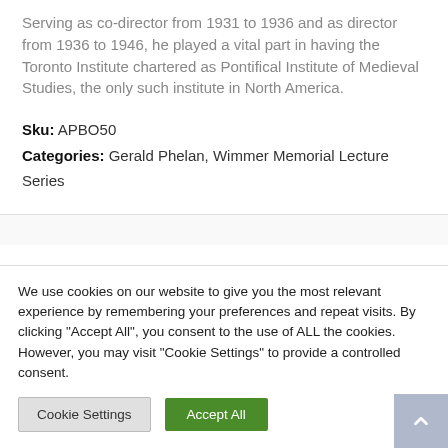Serving as co-director from 1931 to 1936 and as director from 1936 to 1946, he played a vital part in having the Toronto Institute chartered as Pontifical Institute of Medieval Studies, the only such institute in North America.
Sku: APBO50
Categories: Gerald Phelan, Wimmer Memorial Lecture Series
We use cookies on our website to give you the most relevant experience by remembering your preferences and repeat visits. By clicking "Accept All", you consent to the use of ALL the cookies. However, you may visit "Cookie Settings" to provide a controlled consent.